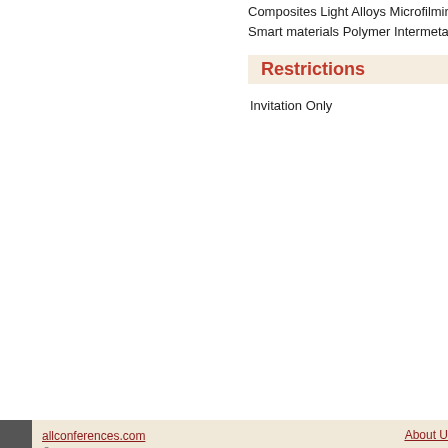Composites Light Alloys Microfilming Pow Smart materials Polymer Intermetallic Ot
Restrictions
Invitation Only
allconferences.com © 2000 - 2016 About U Tours Cruises River Cru obus Tours Trafalgar Tours Insight Tours Tauck Tours Celebrity Cruises Holla ses Azamara Cruises Crystal Cruises Disney Cruises Oceania Cruises Regen Viking River Cruises Tauck River Cruises A